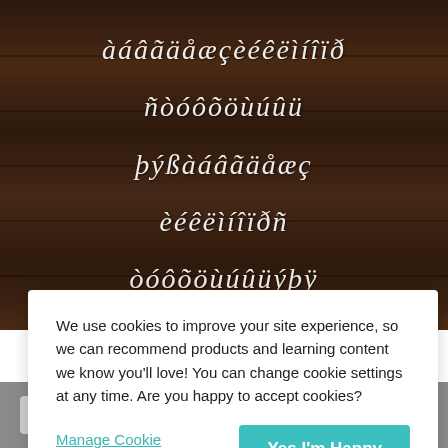[Figure (illustration): Dark wood plank background showing decorative font characters including accented and special Unicode glyphs displayed in white italic handwritten style across 5 rows]
We use cookies to improve your site experience, so we can recommend products and learning content we know you'll love! You can change cookie settings at any time. Are you happy to accept cookies?
Manage Cookie Preferences
Yes I'm Happy
TOP